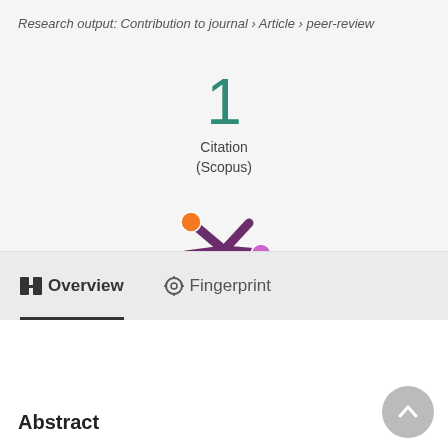Research output: Contribution to journal › Article › peer-review
1
Citation
(Scopus)
[Figure (logo): Altmetric logo — stylized asterisk with colored dots in orange and purple on grey background]
Overview
Fingerprint
Abstract